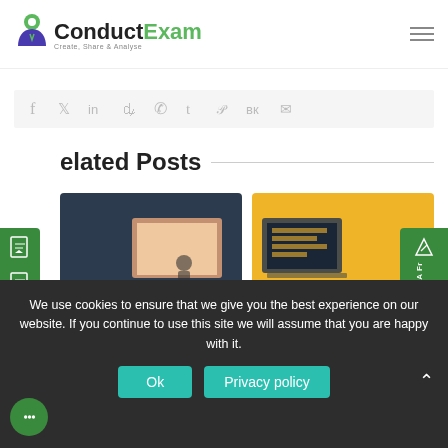ConductExam - Create, Share & Analyse
[Figure (screenshot): Social sharing icons bar: facebook, twitter, linkedin, reddit, whatsapp, tumblr, pinterest, vk, email]
Related Posts
[Figure (screenshot): Post card 1: Dark blue background with laptop graphic. Text: 'will online exam are help in virtual hiring?' with 'virtual hiring?' as a blue link]
[Figure (screenshot): Post card 2: Yellow background with laptop/monitor graphic. Text: 'WHY U MUST CONSIDER THE ON OF EXAMINATIONS']
We use cookies to ensure that we give you the best experience on our website. If you continue to use this site we will assume that you are happy with it.
Ok | Privacy policy